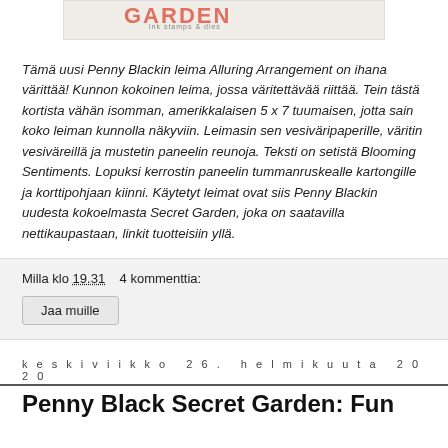[Figure (illustration): Banner image for Penny Black Secret Garden stamps and dies product]
Tämä uusi Penny Blackin leima Alluring Arrangement on ihana värittää! Kunnon kokoinen leima, jossa väritettävää riittää. Tein tästä kortista vähän isomman, amerikkalaisen 5 x 7 tuumaisen, jotta sain koko leiman kunnolla näkyviin. Leimasin sen vesiväripa­perille, väritin vesiväreil­lä ja mustetin paneelin reunoja. Teksti on setistä Blooming Sentiments. Lopuksi kerrostin paneelin tummanruskealle kartongille ja korttipohjaan kiinni. Käytetyt leimat ovat siis Penny Blackin uudesta kokoelmasta Secret Garden, joka on saatavilla nettikaupastaan, linkit tuotteisiin yllä.
Milla klo 19.31    4 kommenttia:
Jaa muille
keskiviikko 26. helmikuuta 2020
Penny Black Secret Garden: Fun